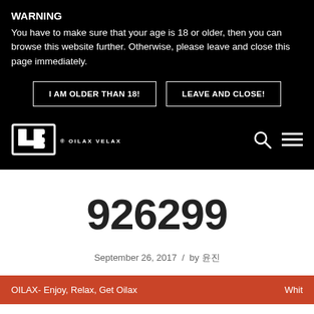WARNING
You have to make sure that your age is 18 or older, then you can browse this website further. Otherwise, please leave and close this page immediately.
I AM OLDER THAN 18! | LEAVE AND CLOSE!
[Figure (logo): Oilax Velax logo with stylized UB icon and text OILAX VELAX]
926299
September 26, 2017 / by 윤진
OILAX- Enjoy, Relax, Get Oilax  Whit